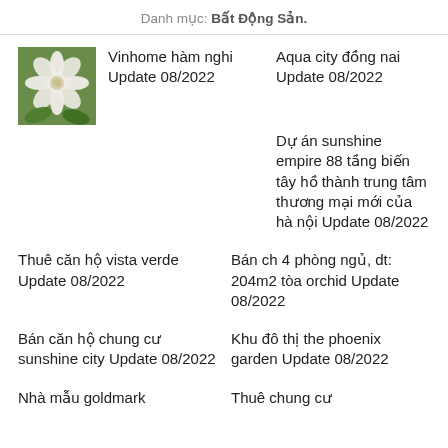Danh mục: Bất Động Sản.
[Figure (photo): Small thumbnail photo of white flowers on green background]
Vinhome hàm nghi Update 08/2022
Aqua city đồng nai Update 08/2022
Dự án sunshine empire 88 tầng biến tây hồ thành trung tâm thương mại mới của hà nội Update 08/2022
Thuê căn hộ vista verde Update 08/2022
Bán ch 4 phòng ngủ, dt: 204m2 tòa orchid Update 08/2022
Bán căn hộ chung cư sunshine city Update 08/2022
Khu đô thị the phoenix garden Update 08/2022
Nhà mẫu goldmark
Thuê chung cư